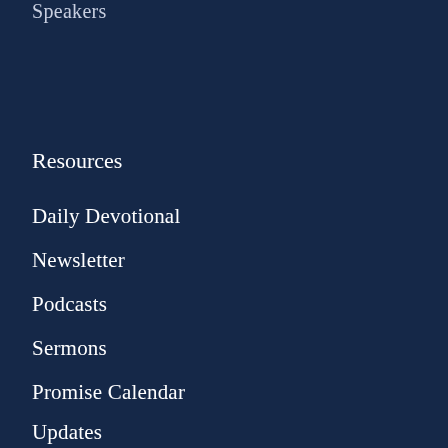Speakers
Resources
Daily Devotional
Newsletter
Podcasts
Sermons
Promise Calendar
Updates